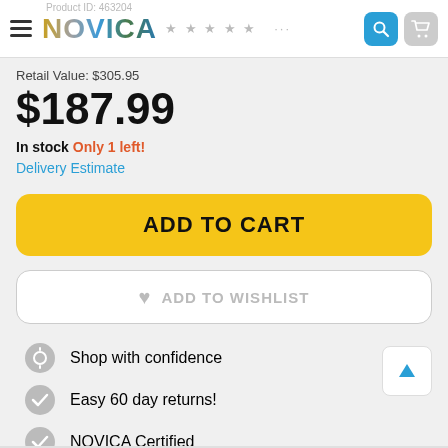NOVICA
Retail Value: $305.95
$187.99
In stock Only 1 left!
Delivery Estimate
ADD TO CART
ADD TO WISHLIST
Shop with confidence
Easy 60 day returns!
NOVICA Certified